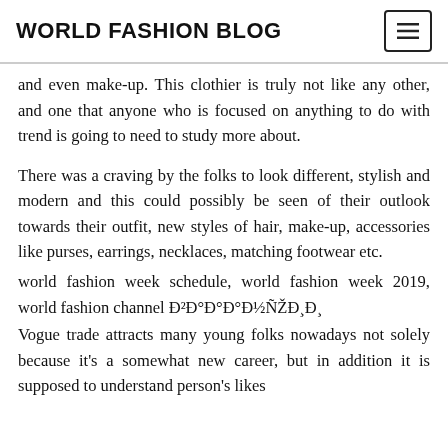WORLD FASHION BLOG
and even make-up. This clothier is truly not like any other, and one that anyone who is focused on anything to do with trend is going to need to study more about.
There was a craving by the folks to look different, stylish and modern and this could possibly be seen of their outlook towards their outfit, new styles of hair, make-up, accessories like purses, earrings, necklaces, matching footwear etc.
world fashion week schedule, world fashion week 2019, world fashion channel Ð²Ð°Ð°Ð°Ð½ÑÐ¸Ð¸
Vogue trade attracts many young folks nowadays not solely because it's a somewhat new career, but in addition it is supposed to understand person's likes